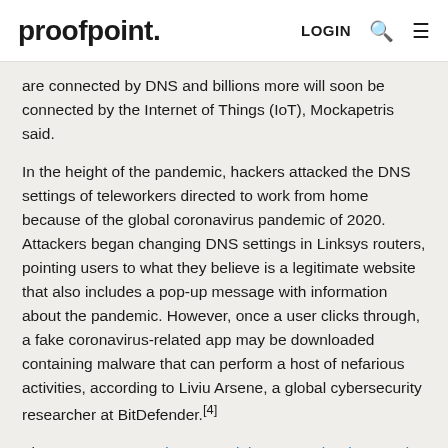proofpoint. LOGIN
are connected by DNS and billions more will soon be connected by the Internet of Things (IoT), Mockapetris said.
In the height of the pandemic, hackers attacked the DNS settings of teleworkers directed to work from home because of the global coronavirus pandemic of 2020. Attackers began changing DNS settings in Linksys routers, pointing users to what they believe is a legitimate website that also includes a pop-up message with information about the pandemic. However, once a user clicks through, a fake coronavirus-related app may be downloaded containing malware that can perform a host of nefarious activities, according to Liviu Arsene, a global cybersecurity researcher at BitDefender.[4]
The FBI's Internet Crime Complaint Center (IC3) warned the public in March of 2020 to watch out for online scams